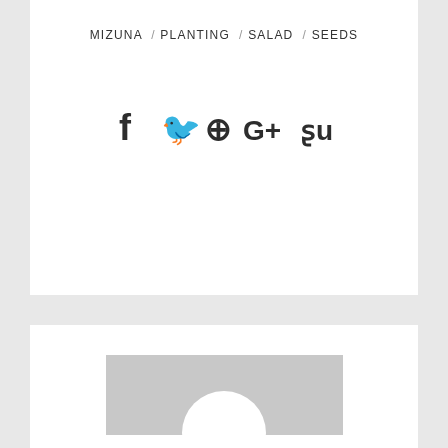MIZUNA / PLANTING / SALAD / SEEDS
[Figure (infographic): Social media share icons: Facebook (f), Twitter (bird), Pinterest (circle P), Google+ (G+), StumbleUpon (Su)]
[Figure (photo): Generic user avatar placeholder image - grey square with white silhouette of a person]
commgarden